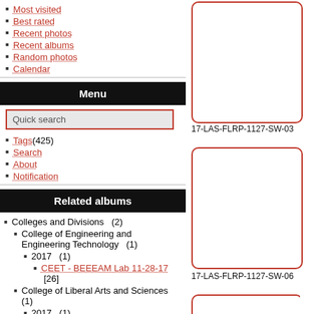Most visited
Best rated
Recent photos
Recent albums
Random photos
Calendar
Menu
Quick search
Tags (425)
Search
About
Notification
Related albums
Colleges and Divisions  (2)
College of Engineering and Engineering Technology  (1)
2017  (1)
CEET - BEEEAM Lab 11-28-17  [26]
College of Liberal Arts and Sciences  (1)
2017  (1)
Foreign Language Residence Program 11-27-17  [22]
Identification
[Figure (photo): Thumbnail image placeholder with red rounded border, labeled 17-LAS-FLRP-1127-SW-03]
17-LAS-FLRP-1127-SW-03
[Figure (photo): Thumbnail image placeholder with red rounded border, labeled 17-LAS-FLRP-1127-SW-06]
17-LAS-FLRP-1127-SW-06
[Figure (photo): Thumbnail image placeholder with red rounded border, partially visible at bottom right]